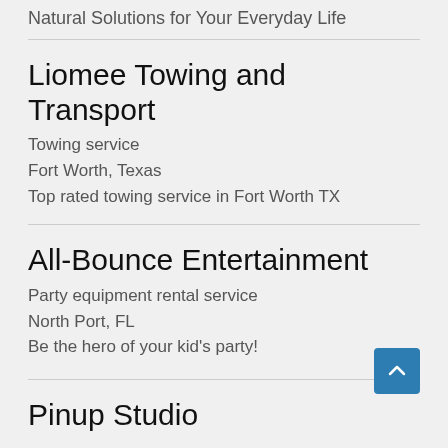Natural Solutions for Your Everyday Life
Liomee Towing and Transport
Towing service
Fort Worth, Texas
Top rated towing service in Fort Worth TX
All-Bounce Entertainment
Party equipment rental service
North Port, FL
Be the hero of your kid's party!
Pinup Studio